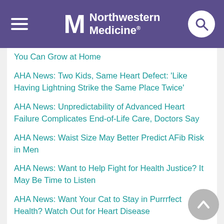Northwestern Medicine
You Can Grow at Home
AHA News: Two Kids, Same Heart Defect: 'Like Having Lightning Strike the Same Place Twice'
AHA News: Unpredictability of Advanced Heart Failure Complicates End-of-Life Care, Doctors Say
AHA News: Waist Size May Better Predict AFib Risk in Men
AHA News: Want to Help Fight for Health Justice? It May Be Time to Listen
AHA News: Want Your Cat to Stay in Purrrfect Health? Watch Out for Heart Disease
AHA News: Watch Your Heart Rate, But Don't Obsess About It